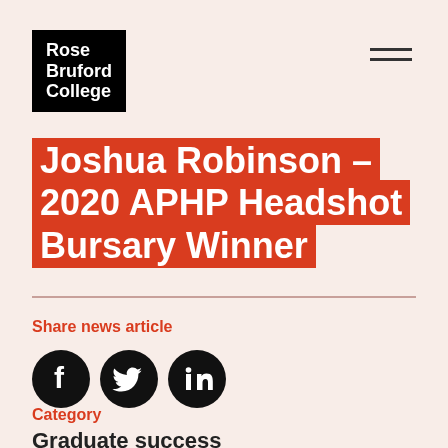[Figure (logo): Rose Bruford College logo — white text on black background block]
Joshua Robinson – 2020 APHP Headshot Bursary Winner
Share news article
[Figure (infographic): Social media share icons: Facebook, Twitter, LinkedIn — black circles with white icons]
Category
Graduate success